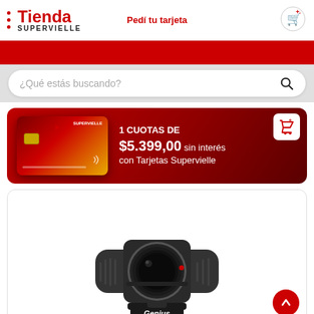Tienda SUPERVIELLE | Pedí tu tarjeta
¿Qué estás buscando?
[Figure (screenshot): Promotional banner for Tienda Supervielle showing a Supervielle credit card with text: 1 CUOTAS DE $5.399,00 sin interés con Tarjetas Supervielle]
1 CUOTAS DE $5.399,00 sin interés con Tarjetas Supervielle
[Figure (photo): Product photo of a Genius webcam with black body, round lens in center with speaker grilles on sides, mounted on a clip stand, with Genius brand logo at the bottom]